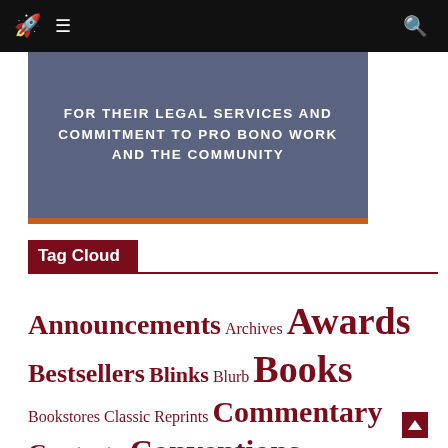Navigation bar with rocket logo, menu icon, and search icon
[Figure (other): Banner image with dark blue-grey background and orange accent bar at bottom, text: FOR THEIR LEGAL SERVICES AND COMMITMENT TO PRO BONO WORK AND THE COMMUNITY]
Tag Cloud
Announcements Archives Awards Bestsellers Blinks Blurb Books Bookstores Classic Reprints Commentary Contests Conventions Cory Doctorow Features Films Forthcoming Books Interviews Issues Kameron Hurley Legal Milestones New & Notable New Books New in Paperback